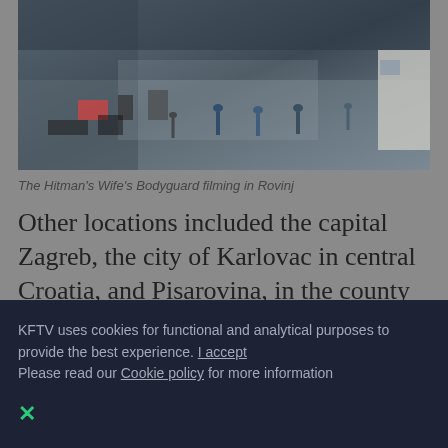[Figure (photo): Film crew on set in Rovinj, Croatia, with equipment, people standing and walking on a large open floor area, overhead shot]
The Hitman's Wife's Bodyguard filming in Rovinj
Other locations included the capital Zagreb, the city of Karlovac in central Croatia, and Pisarovina, in the county of Zagreb, for a total of 11 days. As well as the port city of Rijeka for seven days (2nd unit only), Motovun and River
KFTV uses cookies for functional and analytical purposes to provide the best experience. I accept
Please read our Cookie policy for more information